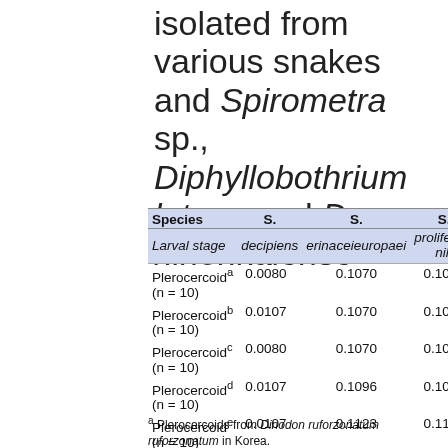isolated from various snakes and Spirometra sp., Diphyllobothrium latum, and D. nihonkaiense
| Species
Larval stage | S. decipiens | S. erinaceieuropaei | S. proliferum nih... |
| --- | --- | --- | --- |
| Plerocercoid^a (n = 10) | 0.0080 | 0.1070 | 0.1070 |
| Plerocercoid^b (n = 10) | 0.0107 | 0.1070 | 0.1070 |
| Plerocercoid^c (n = 10) | 0.0080 | 0.1070 | 0.1070 |
| Plerocercoid^d (n = 10) | 0.0107 | 0.1096 | 0.1070 |
| Plerocercoid^e (n = 10) | 0.0107 | 0.1123 | 0.1123 |
a Plerocercoids from Dinodon ruforzonatum ruforzonatum in Korea.